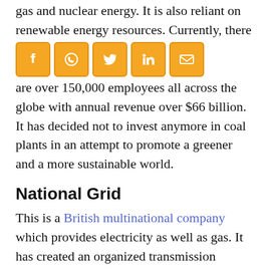gas and nuclear energy. It is also reliant on renewable energy resources. Currently, there are over 150,000 employees all across the globe with annual revenue over $66 billion. It has decided not to invest anymore in coal plants in an attempt to promote a greener and a more sustainable world.
[Figure (other): Social media sharing icons: Facebook, WhatsApp, Twitter, LinkedIn, Email — orange square buttons with white icons]
National Grid
This is a British multinational company which provides electricity as well as gas. It has created an organized transmission network all across the British. Furthermore, it even operates effectively in the USA with over